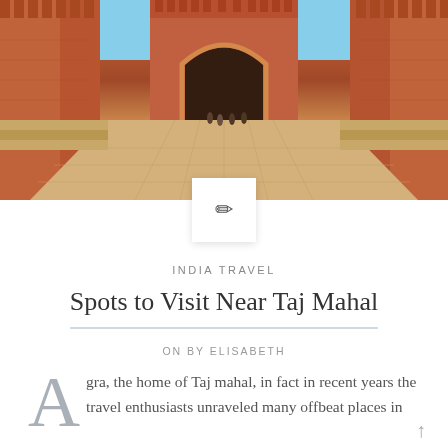[Figure (photo): Photo of a red sandstone fort/gateway (likely Agra Fort) viewed from a wide stone courtyard path, with tourists walking toward the arched entrance, flanked by massive red sandstone walls on both sides, under a clear sky.]
INDIA TRAVEL
Spots to Visit Near Taj Mahal
ON BY ELISABETH
Agra, the home of Taj mahal, in fact in recent years the travel enthusiasts unraveled many offbeat places in